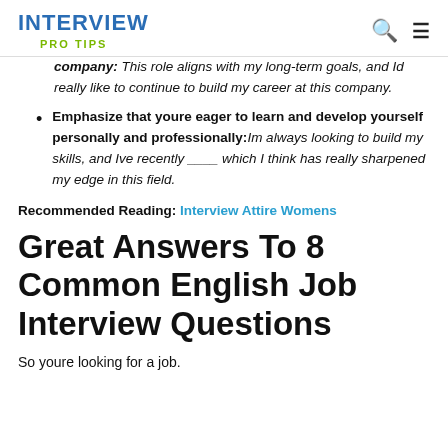INTERVIEW PRO TIPS
company: This role aligns with my long-term goals, and Id really like to continue to build my career at this company.
Emphasize that youre eager to learn and develop yourself personally and professionally: Im always looking to build my skills, and Ive recently ____ which I think has really sharpened my edge in this field.
Recommended Reading: Interview Attire Womens
Great Answers To 8 Common English Job Interview Questions
So youre looking for a job.